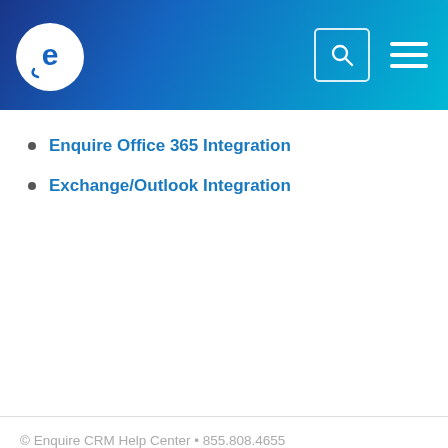Enquire CRM logo with search and menu icons
Enquire Office 365 Integration
Exchange/Outlook Integration
© Enquire CRM Help Center • 855.808.4655
[Figure (logo): Facebook, Twitter, and LinkedIn social media icons in cyan circles]